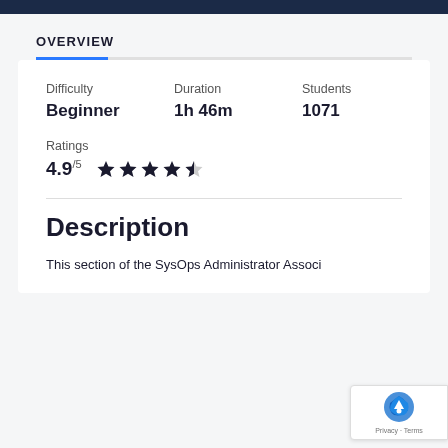OVERVIEW
Difficulty
Beginner
Duration
1h 46m
Students
1071
Ratings
4.9/5 ★★★★½
Description
This section of the SysOps Administrator Associ...